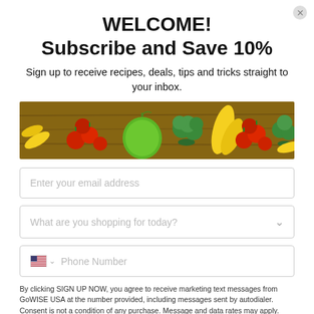WELCOME! Subscribe and Save 10%
Sign up to receive recipes, deals, tips and tricks straight to your inbox.
[Figure (photo): A horizontal banner photo of assorted fresh vegetables and fruits on a wooden table: tomatoes, green apple, broccoli, bananas, and other produce]
Enter your email address
What are you shopping for today?
Phone Number
By clicking SIGN UP NOW, you agree to receive marketing text messages from GoWISE USA at the number provided, including messages sent by autodialer. Consent is not a condition of any purchase. Message and data rates may apply. Message frequency varies. Reply HELP for help or STOP to cancel. View our Privacy Policy and Terms of